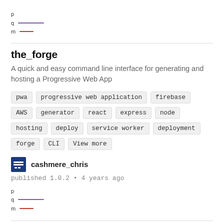[Figure (other): Legend with p, q, m labels and colored lines (purple and red)]
the_forge
A quick and easy command line interface for generating and hosting a Progressive Web App
pwa
progressive web application
firebase
AWS
generator
react
express
node
hosting
deploy
service worker
deployment
forge
CLI
View more
cashmere_chris
published 1.0.2 • 4 years ago
[Figure (other): Legend with p, q, m labels and colored lines (purple and red)]
functions_differ